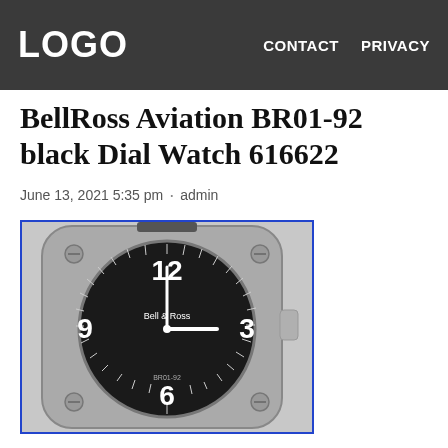LOGO   CONTACT   PRIVACY
BellRoss Aviation BR01-92 black Dial Watch 616622
June 13, 2021 5:35 pm · admin
[Figure (photo): Bell & Ross BR01-92 watch with black dial showing 12, 3, 6, 9 numerals, square stainless steel case with screws at corners, crown on right side, and Bell & Ross and BR01-92 text on dial]